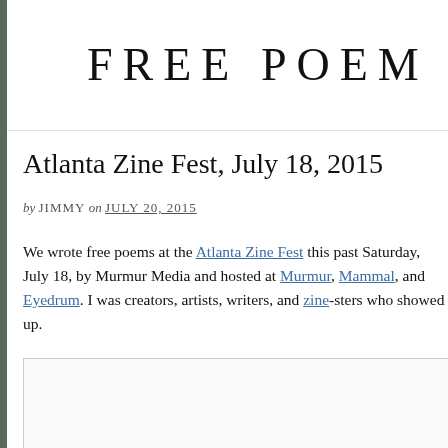FREE POEM
Atlanta Zine Fest, July 18, 2015
by JIMMY on JULY 20, 2015
We wrote free poems at the Atlanta Zine Fest this past Saturday, July 18, by Murmur Media and hosted at Murmur, Mammal, and Eyedrum. I was creators, artists, writers, and zine-sters who showed up.
[Figure (photo): Image box at bottom of page]